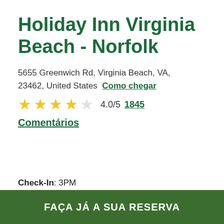Holiday Inn Virginia Beach - Norfolk
5655 Greenwich Rd, Virginia Beach, VA, 23462, United States  Como chegar
★★★★☆ 4.0/5  1845 Comentários
Check-In: 3PM
FAÇA JÁ A SUA RESERVA